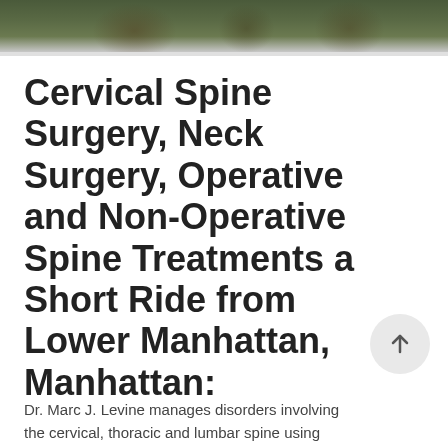[Figure (photo): Outdoor photo strip showing people walking in a wooded/natural setting, partially cropped at top of page]
Cervical Spine Surgery, Neck Surgery, Operative and Non-Operative Spine Treatments a Short Ride from Lower Manhattan, Manhattan:
Dr. Marc J. Levine manages disorders involving the cervical, thoracic and lumbar spine using